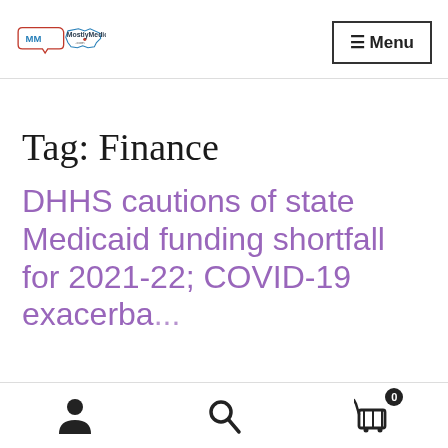MostlyMedicaid.com
Tag: Finance
DHHS cautions of state Medicaid funding shortfall for 2021-22; COVID-19 exacerbates
User icon | Search icon | Cart (0)